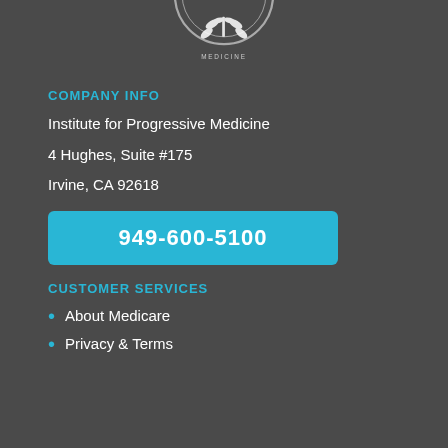[Figure (logo): Circular logo for Institute for Progressive Medicine, partially visible at top, white emblem on dark background]
COMPANY INFO
Institute for Progressive Medicine
4 Hughes, Suite #175
Irvine, CA 92618
949-600-5100
CUSTOMER SERVICES
About Medicare
Privacy & Terms